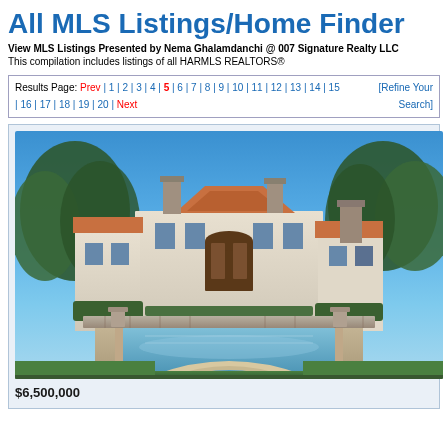All MLS Listings/Home Finder
View MLS Listings Presented by Nema Ghalamdanchi @ 007 Signature Realty LLC
This compilation includes listings of all HARMLS REALTORS®
Results Page: Prev | 1 | 2 | 3 | 4 | 5 | 6 | 7 | 8 | 9 | 10 | 11 | 12 | 13 | 14 | 15 | 16 | 17 | 18 | 19 | 20 | Next [Refine Your Search]
[Figure (photo): Exterior photo of a large Mediterranean/Spanish-style luxury home with white stucco walls, arched windows, red tile roofs, stone chimney, swimming pool with raised spa in foreground, surrounded by green lawns and trees under blue sky.]
$6,500,000